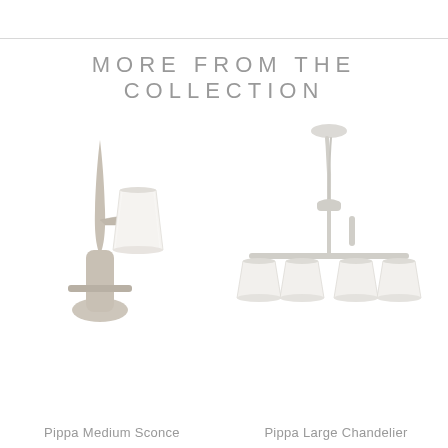MORE FROM THE COLLECTION
[Figure (photo): Pippa Medium Sconce - a wall sconce with silver/nickel finish and white cylindrical shade]
Pippa Medium Sconce
[Figure (photo): Pippa Large Chandelier - a four-arm chandelier in white/plaster finish with four cylindrical white shades]
Pippa Large Chandelier